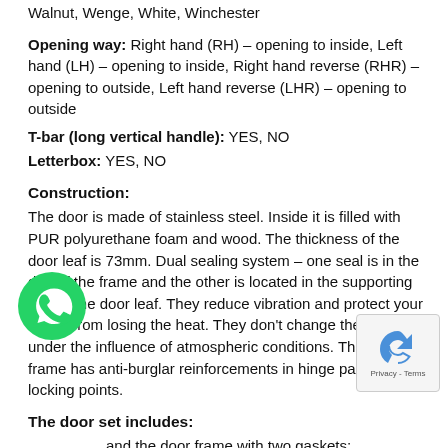Walnut, Wenge, White, Winchester
Opening way: Right hand (RH) – opening to inside, Left hand (LH) – opening to inside, Right hand reverse (RHR) – opening to outside, Left hand reverse (LHR) – opening to outside
T-bar (long vertical handle): YES, NO
Letterbox: YES, NO
Construction:
The door is made of stainless steel. Inside it is filled with PUR polyurethane foam and wood. The thickness of the door leaf is 73mm. Dual sealing system – one seal is in the dap of the frame and the other is located in the supporting part of the door leaf. They reduce vibration and protect your house from losing the heat. They don't change their volume under the influence of atmospheric conditions. The door frame has anti-burglar reinforcements in hinge parts and locking points.
The door set includes:
and the door frame with two gaskets;
independent locks (multi-point locking mechanism) providing anti-burglary security solution
– Two sets of inserts with the keys;
– Normal door handle (T-bar long handle as an additional option);